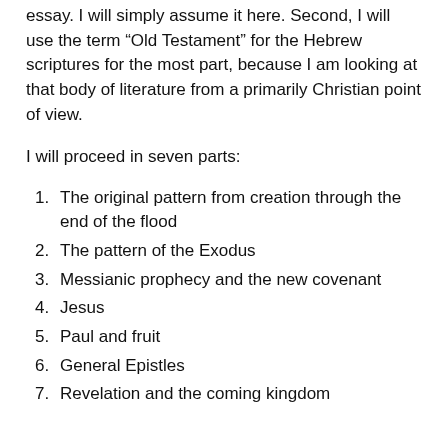essay. I will simply assume it here. Second, I will use the term “Old Testament” for the Hebrew scriptures for the most part, because I am looking at that body of literature from a primarily Christian point of view.
I will proceed in seven parts:
The original pattern from creation through the end of the flood
The pattern of the Exodus
Messianic prophecy and the new covenant
Jesus
Paul and fruit
General Epistles
Revelation and the coming kingdom